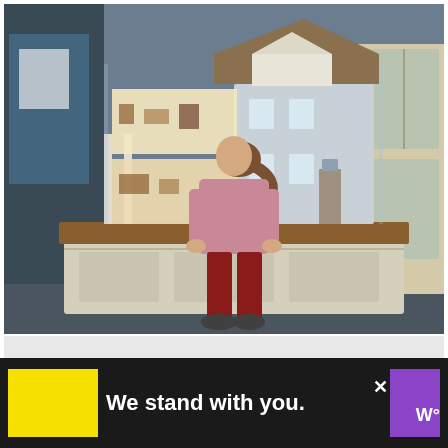[Figure (photo): A child standing in front of a large dollhouse exhibit in a museum. The dollhouse is a detailed miniature colonial-style house with multiple illuminated rooms visible through the open front. The display is mounted on a cream-colored wooden pedestal. Museum display cases with glass doors are visible in the background.]
[Figure (other): Advertisement banner with black background showing 'We stand with you.' text. Left side has a yellow square block, center has white bold text on black, right side has a purple rectangle. An X close button and what appears to be a WW logo are visible on the far right.]